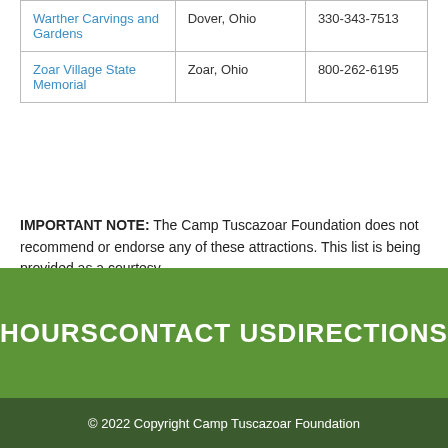|  |  |  |
| --- | --- | --- |
| Warther Carvings and Gardens | Dover, Ohio | 330-343-7513 |
| Zoar Village State Memorial | Zoar, Ohio | 800-262-6195 |
IMPORTANT NOTE: The Camp Tuscazoar Foundation does not recommend or endorse any of these attractions. This list is being provided as a courtesy.
HOURS   CONTACT US   DIRECTIONS
© 2022 Copyright Camp Tuscazoar Foundation